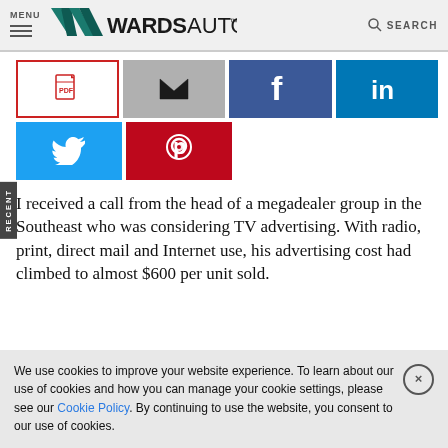MENU | WARDS AUTO | SEARCH
[Figure (screenshot): Share buttons row: PDF (red border), Email (gray), Facebook (blue), LinkedIn (blue), Twitter (blue), Pinterest (red)]
I received a call from the head of a megadealer group in the Southeast who was considering TV advertising. With radio, print, direct mail and Internet use, his advertising cost had climbed to almost $600 per unit sold.
We use cookies to improve your website experience. To learn about our use of cookies and how you can manage your cookie settings, please see our Cookie Policy. By continuing to use the website, you consent to our use of cookies.